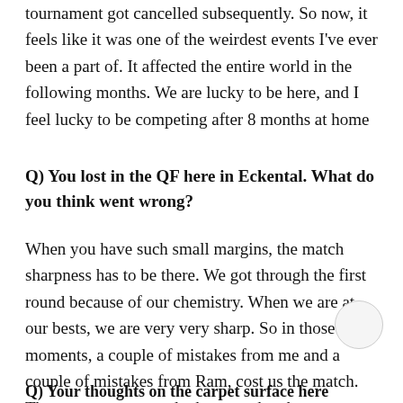tournament got cancelled subsequently. So now, it feels like it was one of the weirdest events I've ever been a part of. It affected the entire world in the following months. We are lucky to be here, and I feel lucky to be competing after 8 months at home
Q) You lost in the QF here in Eckental. What do you think went wrong?
When you have such small margins, the match sharpness has to be there. We got through the first round because of our chemistry. When we are at our bests, we are very very sharp. So in those moments, a couple of mistakes from me and a couple of mistakes from Ram, cost us the match. They were more match-sharp, as they have probably been playing for 10 weeks more. But that's the way tennis goes
Q) Your thoughts on the carpet surface here